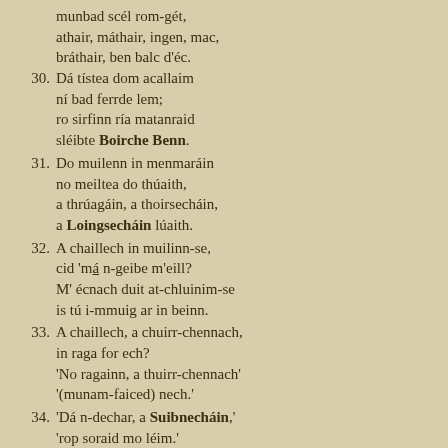munbad scél rom-gét,
athair, máthair, ingen, mac,
bráthair, ben balc d'éc.
30. Dá tístea dom acallaim
ní bad ferrde lem;
ro sirfinn ría matanraid
sléibte Boirche Benn.
31. Do muilenn in menmaráin
no meiltea do thúaith,
a thrúagáin, a thoirsecháin,
a Loingsecháin lúaith.
32. A chaillech in muilinn-se,
cid 'má n-geibe m'eill?
M' écnach duit at-chluinim-se
is tú i-mmuig ar in beinn.
33. A chaillech, a chuirr-chennach,
in raga for ech?
'No ragainn, a thuirr-chennach'
'(munam-faiced) nech.'
34. 'Dá n-dechar, a Suibnecháin,'
'rop soraid mo léim.'
Dá (toraissiu), a chaillecháin,
ní rís slán céill.
35. 'Ní cóir, éim, a n-apraidsi'
'a meic Colmáin cais;'
'nách ferrde mo marcachas'
'gan tuitim tar m'ais?'